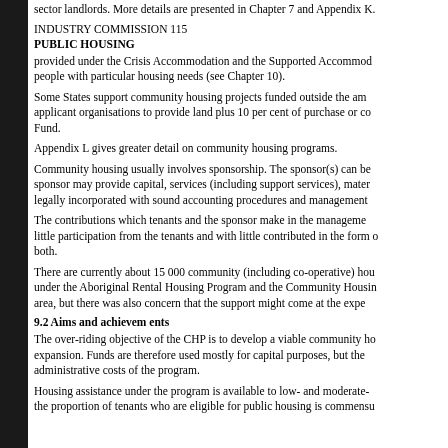sector landlords. More details are presented in Chapter 7 and Appendix K.
INDUSTRY COMMISSION 115
PUBLIC HOUSING
provided under the Crisis Accommodation and the Supported Accommodation Assistance Program for people with particular housing needs (see Chapter 10).
Some States support community housing projects funded outside the amalgamated program, requiring applicant organisations to provide land plus 10 per cent of purchase or construction costs from their own Fund.
Appendix L gives greater detail on community housing programs.
Community housing usually involves sponsorship. The sponsor(s) can be individuals or organisations. A sponsor may provide capital, services (including support services), materials or labour. Groups must be legally incorporated with sound accounting procedures and management structures.
The contributions which tenants and the sponsor make in the management of the housing can vary from little participation from the tenants and with little contributed in the form of sponsorship to a combination of both.
There are currently about 15 000 community (including co-operative) housing dwellings, not counting those under the Aboriginal Rental Housing Program and the Community Housing for Aboriginal People. This is a growth area, but there was also concern that the support might come at the expense of public housing.
9.2 Aims and achievements
The over-riding objective of the CHP is to develop a viable community housing sector through planned expansion. Funds are therefore used mostly for capital purposes, but they can also be used to meet the administrative costs of the program.
Housing assistance under the program is available to low- and moderate-income households, provided that the proportion of tenants who are eligible for public housing is commensurate with the level of the subsidy.